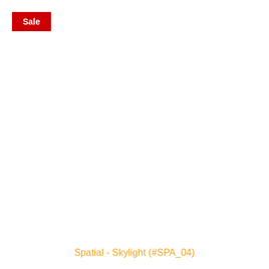Sale
Spatial - Skylight (#SPA_04)